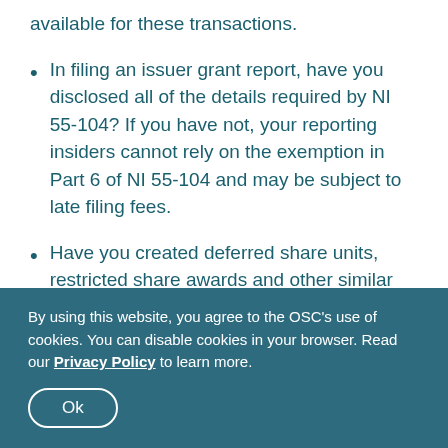available for these transactions.
In filing an issuer grant report, have you disclosed all of the details required by NI 55-104? If you have not, your reporting insiders cannot rely on the exemption in Part 6 of NI 55-104 and may be subject to late filing fees.
Have you created deferred share units, restricted share awards and other similar securities under the security category of "issuer derivative" on SEDI? Creating these under the category of "equity" is incorrect.
By using this website, you agree to the OSC's use of cookies. You can disable cookies in your browser. Read our Privacy Policy to learn more.